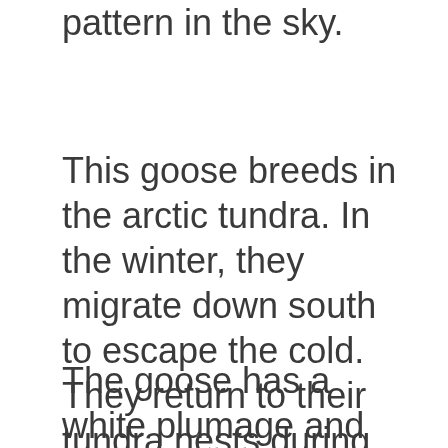pattern in the sky.
This goose breeds in the arctic tundra. In the winter, they migrate down south to escape the cold. They return to their tundra nests during the spring season.
The goose has a white plumage and pink bill. Its wingtips are black. It grows